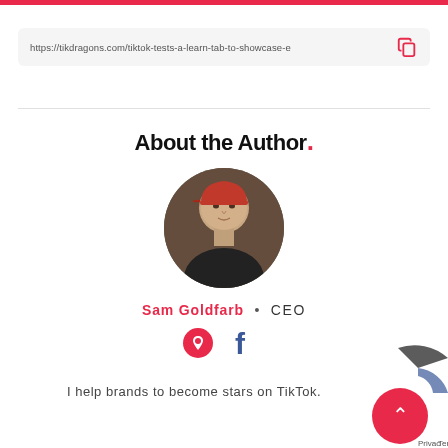https://tikdragons.com/tiktok-tests-a-learn-tab-to-showcase-e
About the Author.
[Figure (photo): Circular profile photo of Sam Goldfarb, a bald man wearing a red cap and dark jacket, photographed in a dim indoor setting]
Sam Goldfarb • CEO
[Figure (infographic): Social media icons: a pink/red heart-pin icon and a blue Facebook logo icon]
I help brands to become stars on TikTok.